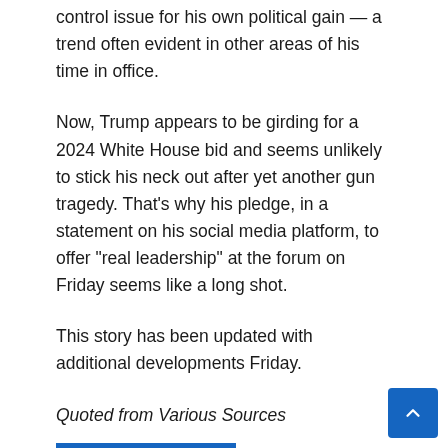control issue for his own political gain — a trend often evident in other areas of his time in office.
Now, Trump appears to be girding for a 2024 White House bid and seems unlikely to stick his neck out after yet another gun tragedy. That's why his pledge, in a statement on his social media platform, to offer “real leadership” at the forum on Friday seems like a long shot.
This story has been updated with additional developments Friday.
Quoted from Various Sources
Published for: Ipodifier